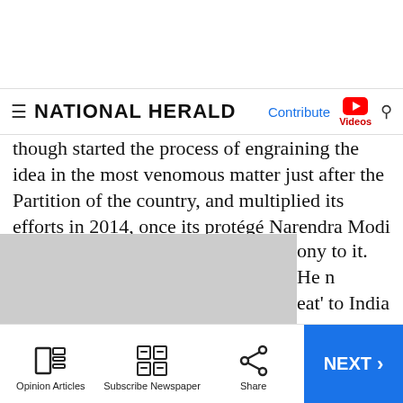NATIONAL HERALD
though started the process of engraining the idea in the most venomous matter just after the Partition of the country, and multiplied its efforts in 2014, once its protégé Narendra Modi became the prime minister.
The RSS not only took to indoctrinating the common Hindus, but its forerunner leaders resorted to terrorise and threaten the people who mustered courage to question and oppose the move. The statement made by UP Chief Mi[nister…]ony to it. He n[…]eat' to India g[…]n warned
Opinion Articles | Subscribe Newspaper | Share | NEXT